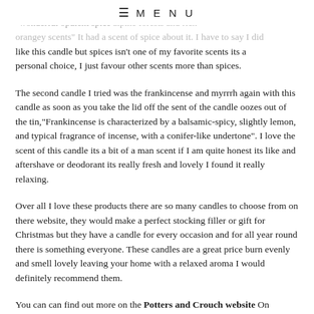≡ MENU
soon as you take the lid off you can smell the scent from "wonderful opulent spices" alpine forests and rich orangey scents" It had a scent of spice about it. I have to say I did like this candle but spices isn't one of my favorite scents its a personal choice, I just favour other scents more than spices.
The second candle I tried was the frankincense and myrrrh again with this candle as soon as you take the lid off the sent of the candle oozes out of the tin,"Frankincense is characterized by a balsamic-spicy, slightly lemon, and typical fragrance of incense, with a conifer-like undertone". I love the scent of this candle its a bit of a man scent if I am quite honest its like and aftershave or deodorant its really fresh and lovely I found it really relaxing.
Over all I love these products there are so many candles to choose from on there website, they would make a perfect stocking filler or gift for Christmas but they have a candle for every occasion and for all year round there is something everyone. These candles are a great price burn evenly and smell lovely leaving your home with a relaxed aroma I would definitely recommend them.
You can can find out more on the Potters and Crouch website On